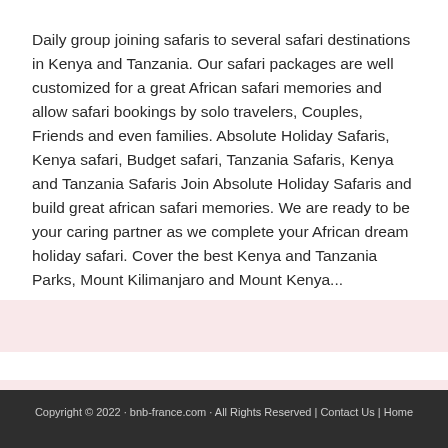Daily group joining safaris to several safari destinations in Kenya and Tanzania. Our safari packages are well customized for a great African safari memories and allow safari bookings by solo travelers, Couples, Friends and even families. Absolute Holiday Safaris, Kenya safari, Budget safari, Tanzania Safaris, Kenya and Tanzania Safaris Join Absolute Holiday Safaris and build great african safari memories. We are ready to be your caring partner as we complete your African dream holiday safari. Cover the best Kenya and Tanzania Parks, Mount Kilimanjaro and Mount Kenya...
Copyright © 2022 · bnb-france.com · All Rights Reserved | Contact Us | Home